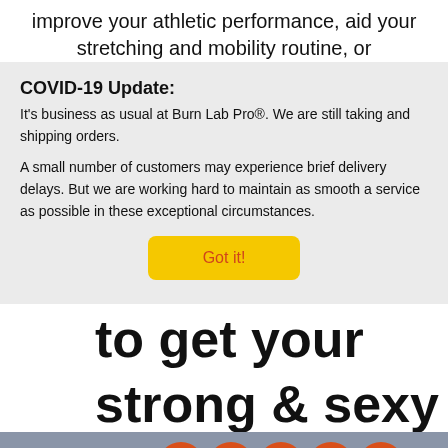improve your athletic performance, aid your stretching and mobility routine, or
COVID-19 Update:
It's business as usual at Burn Lab Pro®. We are still taking and shipping orders.
A small number of customers may experience brief delivery delays. But we are working hard to maintain as smooth a service as possible in these exceptional circumstances.
Got it!
to get your

strong & sexy
or
ORDER NOW